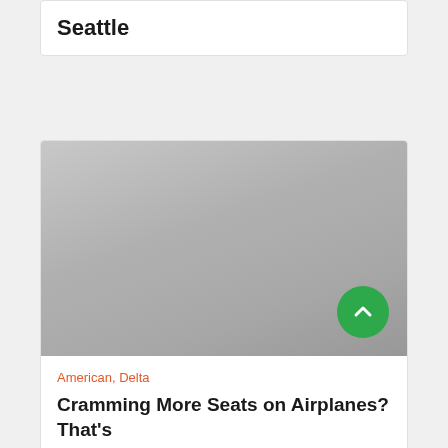Seattle
[Figure (photo): A large gray placeholder image for an article, with a green circular scroll-up button in the bottom right corner.]
American, Delta
Cramming More Seats on Airplanes? That's